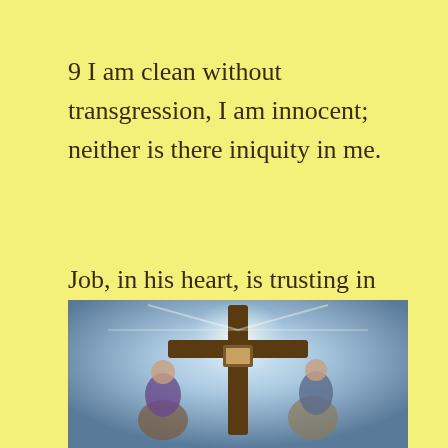9 I am clean without transgression, I am innocent; neither is there iniquity in me.
Job, in his heart, is trusting in His works, not in the forgiveness, the cross, and the righteousness of God.
[Figure (photo): A painting showing figures kneeling at a wooden cross with light radiating from behind]